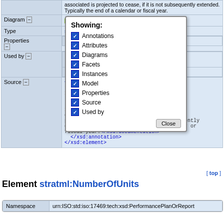| Label | Content |
| --- | --- |
|  | associated is projected to cease, if it is not subsequently extended. Typically the end of a calendar or fiscal year. |
| Diagram [-] | Diagram |
| Type | stratml:DateTypeType |
| Properties [-] | Content | s... |
| Used by [-] | Elements stratml:A... stratml:T... | Complex Type stratml:A... |
| Source [-] | <xsd:element name="End... type="stratml:DateType... 19977fd4-556d-41bc-be2... <xsd:annotation> <xsd:documentation... xml:lang="EN">The year... element with which it is associated is projected to cease, if it is not subsequently extended. Typically the end of a calendar or fiscal year.</xsd:documentation> </xsd:annotation> </xsd:element> |
[Figure (screenshot): Showing panel popup with checkboxes: Annotations, Attributes, Diagrams, Facets, Instances, Model, Properties, Source, Used by. All checked. Close button at bottom right.]
[ top ]
Element stratml:NumberOfUnits
| Namespace | Value |
| --- | --- |
| Namespace | urn:ISO:std:iso:17469:tech:xsd:PerformancePlanOrReport |